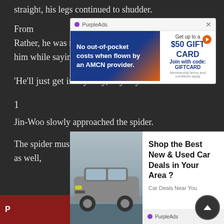straight, his legs continued to shudder.
From [ad] in-Ho. Rather, he was relieved that the kid didn't follow after him while saying he'd lend his aid or some such.
'He'll just get in my way, anyway.'
1
Jin-Woo slowly approached the spider.
The spider must've discovered the humans' presence as well, [ad overlay] while shuffling
[Figure (screenshot): PurpleAds advertisement overlay - blue background ad for AMCN provider with $50 gift card offer. Join with code GIFTCARD.]
[Figure (screenshot): PurpleAds car advertisement overlay - photo of grey SUV with text 'Shop the Best New & Used Car Deals in Your Area?' from Car Deals Near You.]